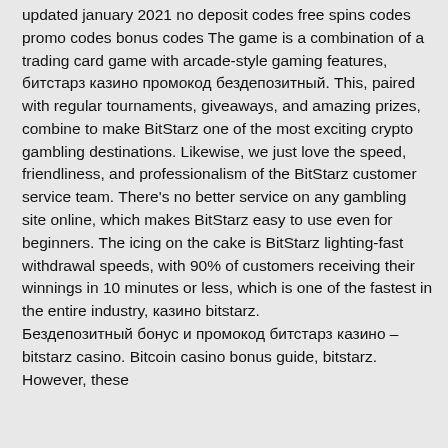updated january 2021 no deposit codes free spins codes promo codes bonus codes The game is a combination of a trading card game with arcade-style gaming features, битстарз казино промокод бездепозитный. This, paired with regular tournaments, giveaways, and amazing prizes, combine to make BitStarz one of the most exciting crypto gambling destinations. Likewise, we just love the speed, friendliness, and professionalism of the BitStarz customer service team. There's no better service on any gambling site online, which makes BitStarz easy to use even for beginners. The icing on the cake is BitStarz lighting-fast withdrawal speeds, with 90% of customers receiving their winnings in 10 minutes or less, which is one of the fastest in the entire industry, казино bitstarz. Бездепозитный бонус и промокод битстарз казино – bitstarz casino. Bitcoin casino bonus guide, bitstarz. However, these